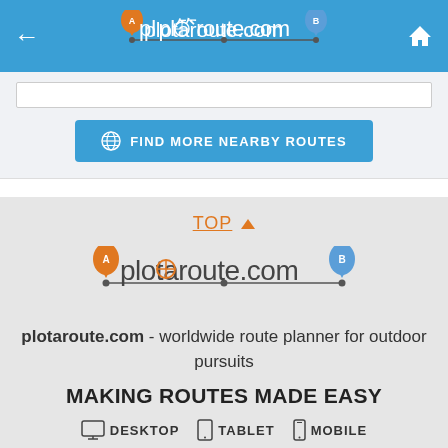plotaroute.com
[Figure (screenshot): Find More Nearby Routes button on plotaroute.com website]
TOP ▲
[Figure (logo): plotaroute.com logo with orange map pins labeled A and B connected by a route line]
plotaroute.com - worldwide route planner for outdoor pursuits
MAKING ROUTES MADE EASY
DESKTOP   TABLET   MOBILE